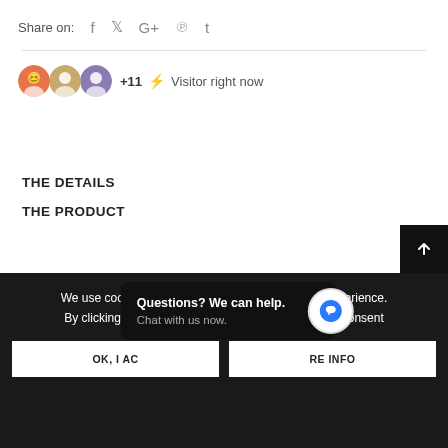Share on: f ✓ G+ p t
+11 ⚡ Visitor right now
THE DETAILS
THE PRODUCT
We use cookies on this site to enhance your user experience. By clicking any link on this page you are giving your consent
Questions? We can help. Chat with us now.
OK, I AC... | RE INFO